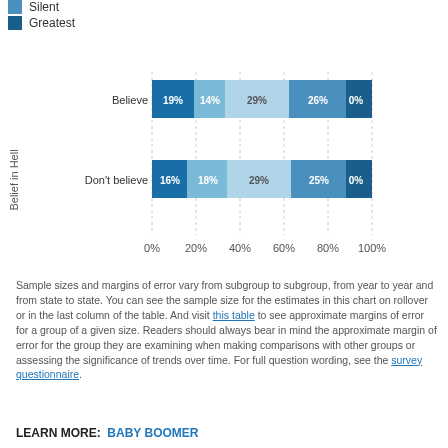Silent
Greatest
[Figure (stacked-bar-chart): Belief in Hell]
Sample sizes and margins of error vary from subgroup to subgroup, from year to year and from state to state. You can see the sample size for the estimates in this chart on rollover or in the last column of the table. And visit this table to see approximate margins of error for a group of a given size. Readers should always bear in mind the approximate margin of error for the group they are examining when making comparisons with other groups or assessing the significance of trends over time. For full question wording, see the survey questionnaire.
LEARN MORE: BABY BOOMER